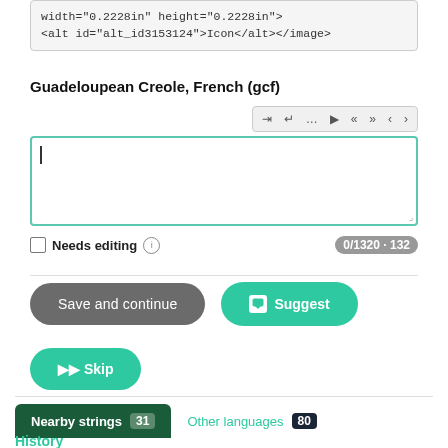width="0.2228in" height="0.2228in">
<alt id="alt_id3153124">Icon</alt></antml:image>
Guadeloupean Creole, French (gcf)
[Figure (screenshot): Toolbar with special character insertion buttons]
[Figure (screenshot): Empty text area input with blue border and cursor]
Needs editing  (i)   0/1320 · 132
Save and continue
Suggest
Skip
Nearby strings 31
Other languages 80
History